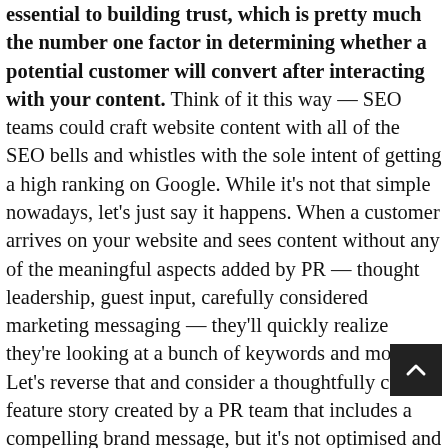essential to building trust, which is pretty much the number one factor in determining whether a potential customer will convert after interacting with your content. Think of it this way — SEO teams could craft website content with all of the SEO bells and whistles with the sole intent of getting a high ranking on Google. While it's not that simple nowadays, let's just say it happens. When a customer arrives on your website and sees content without any of the meaningful aspects added by PR — thought leadership, guest input, carefully considered marketing messaging — they'll quickly realize they're looking at a bunch of keywords and move on. Let's reverse that and consider a thoughtfully crafted feature story created by a PR team that includes a compelling brand message, but it's not optimised and lives on the third Google search results page. No matter how great the story is, odds are your target audience won't ever see it (when was the last time you clicked past page one on Google?) and even if they do, they'll be advertised by a competitor...